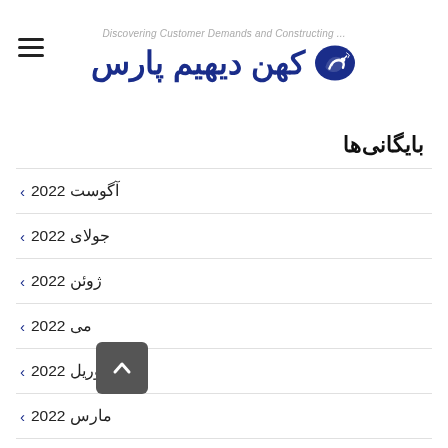Discovering Customer Demands and Constructing ... | کهن دیهیم پارس
بایگانی‌ها
آگوست 2022
جولای 2022
ژوئن 2022
می 2022
آوریل 2022
مارس 2022
فوریه 2022